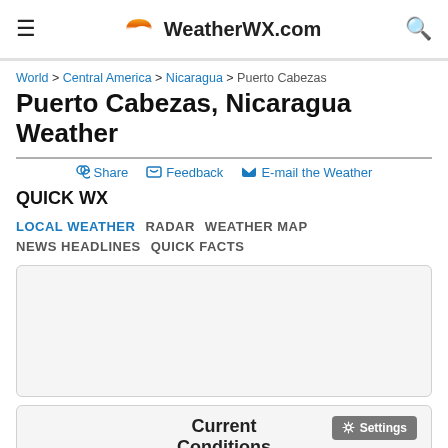WeatherWX.com
World > Central America > Nicaragua > Puerto Cabezas
Puerto Cabezas, Nicaragua Weather
Share   Feedback   E-mail the Weather
QUICK WX
LOCAL WEATHER
RADAR
WEATHER MAP
NEWS HEADLINES
QUICK FACTS
[Figure (other): Advertisement box (blank white/gray rectangle)]
Settings
Current Conditions